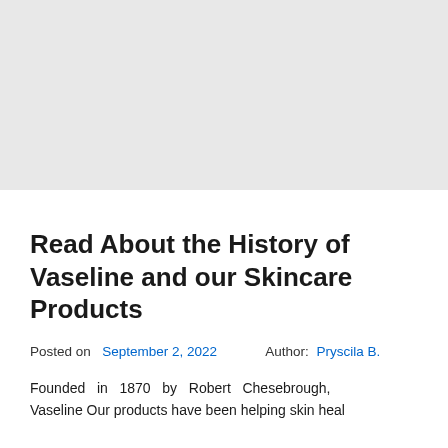[Figure (other): Gray banner/placeholder image area at the top of the page]
Read About the History of Vaseline and our Skincare Products
Posted on  September 2, 2022    Author: Pryscila B.
Founded in 1870 by Robert Chesebrough, Vaseline Our products have been helping skin heal